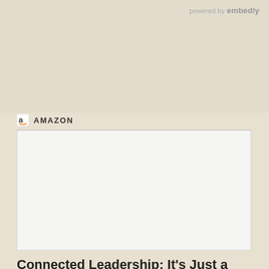powered by embedly
[Figure (logo): Amazon logo - letter 'a' in a box with arrow underneath]
AMAZON
[Figure (photo): White/blank book cover image placeholder]
Connected Leadership: It's Just a Click Away (Corwin Connected Educators Series)
Connected Leadership: It's Just a Click Away (Corwin Connected Educators Series) [Cook, Spike C.] on